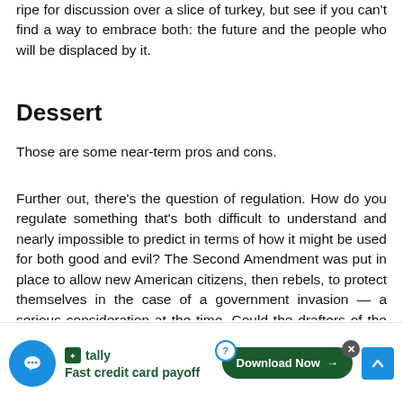ripe for discussion over a slice of turkey, but see if you can't find a way to embrace both: the future and the people who will be displaced by it.
Dessert
Those are some near-term pros and cons.
Further out, there's the question of regulation. How do you regulate something that's both difficult to understand and nearly impossible to predict in terms of how it might be used for both good and evil? The Second Amendment was put in place to allow new American citizens, then rebels, to protect themselves in the case of a government invasion — a serious consideration at the time. Could the drafters of the Bill of mass shootin assault
[Figure (other): Advertisement overlay: chat bubble icon on left, Tally app ad with 'Fast credit card payoff' tagline, Download Now button, close button, help icon, and scroll-to-top arrow button.]